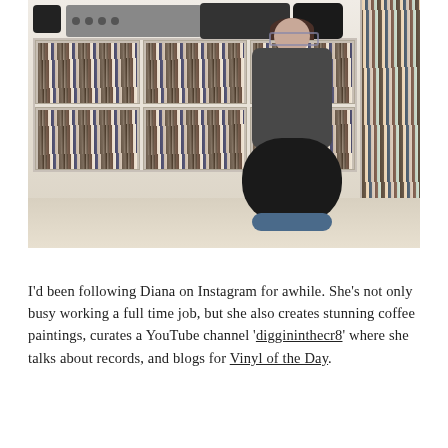[Figure (photo): A woman with glasses and dark hair sits cross-legged on the floor in front of large white shelving units filled with vinyl records. She holds a record sleeve and looks to her left. A turntable and speakers are visible on top of the shelves. More records are stacked on the right side.]
I'd been following Diana on Instagram for awhile. She's not only busy working a full time job, but she also creates stunning coffee paintings, curates a YouTube channel 'diggininthecr8' where she talks about records, and blogs for Vinyl of the Day.